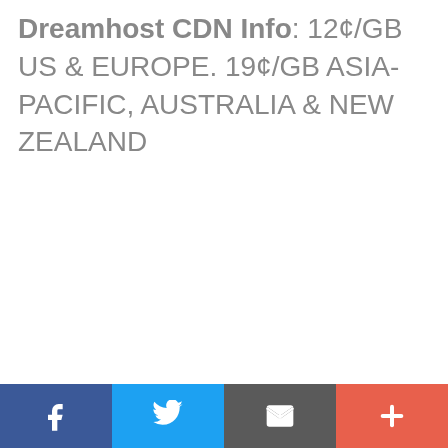Dreamhost CDN Info: 12¢/GB US & EUROPE. 19¢/GB ASIA-PACIFIC, AUSTRALIA & NEW ZEALAND
[Figure (infographic): Social sharing bar with four buttons: Facebook (blue), Twitter (light blue), Email/envelope (dark grey), and More/plus (orange-red)]